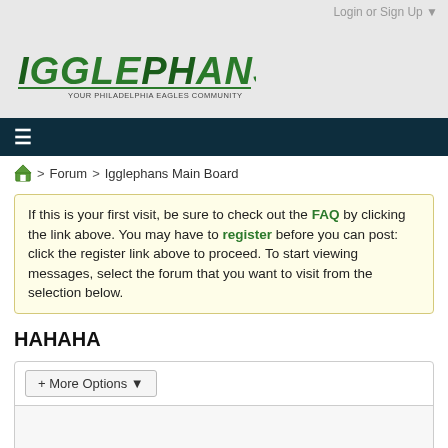Login or Sign Up ▼
[Figure (logo): Igglephans logo with green stylized text and tagline]
≡ (hamburger menu icon)
🏠 > Forum > Igglephans Main Board
If this is your first visit, be sure to check out the FAQ by clicking the link above. You may have to register before you can post: click the register link above to proceed. To start viewing messages, select the forum that you want to visit from the selection below.
HAHAHA
+ More Options ▾
Filter ▼